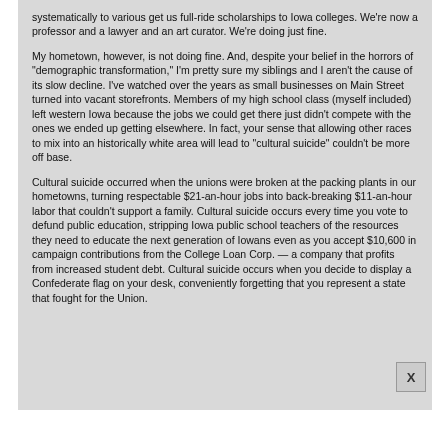systematically to various get us full-ride scholarships to Iowa colleges. We're now a professor and a lawyer and an art curator. We're doing just fine.
My hometown, however, is not doing fine. And, despite your belief in the horrors of "demographic transformation," I'm pretty sure my siblings and I aren't the cause of its slow decline. I've watched over the years as small businesses on Main Street turned into vacant storefronts. Members of my high school class (myself included) left western Iowa because the jobs we could get there just didn't compete with the ones we ended up getting elsewhere. In fact, your sense that allowing other races to mix into an historically white area will lead to "cultural suicide" couldn't be more off base.
Cultural suicide occurred when the unions were broken at the packing plants in our hometowns, turning respectable $21-an-hour jobs into back-breaking $11-an-hour labor that couldn't support a family. Cultural suicide occurs every time you vote to defund public education, stripping Iowa public school teachers of the resources they need to educate the next generation of Iowans even as you accept $10,600 in campaign contributions from the College Loan Corp. — a company that profits from increased student debt. Cultural suicide occurs when you decide to display a Confederate flag on your desk, conveniently forgetting that you represent a state that fought for the Union.